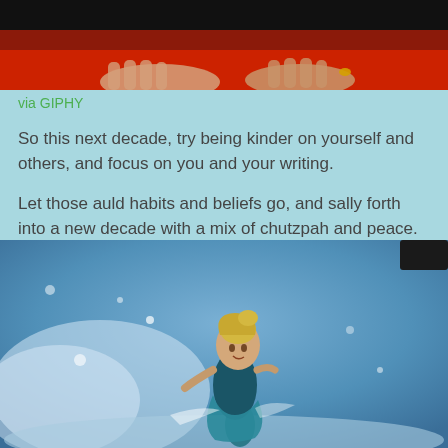[Figure (photo): Top portion of a dark image showing hands against a red background, cropped at top]
via GIPHY
So this next decade, try being kinder on yourself and others, and focus on you and your writing.
Let those auld habits and beliefs go, and sally forth into a new decade with a mix of chutzpah and peace.
[Figure (photo): Screenshot from Disney's Frozen showing Elsa character running/dancing on ice with snow swirling around her against a blue icy background]